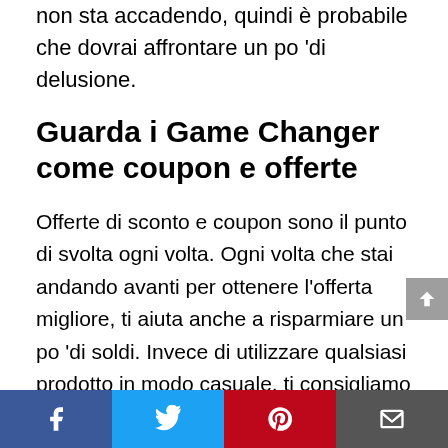non sta accadendo, quindi è probabile che dovrai affrontare un po 'di delusione.
Guarda i Game Changer come coupon e offerte
Offerte di sconto e coupon sono il punto di svolta ogni volta. Ogni volta che stai andando avanti per ottenere l'offerta migliore, ti aiuta anche a risparmiare un po 'di soldi. Invece di utilizzare qualsiasi prodotto in modo casuale, ti consigliamo di cercare su Marketplace e non vediamo l'ora di vedere se c'è l'offerta migliore disponibile o meno. Se sei appassionato di visitare il mercato locale, puoi visitare diversi negozi là fuori e avere un'idea
[Figure (other): Social sharing bar with Facebook, Twitter, Pinterest, and Email buttons]